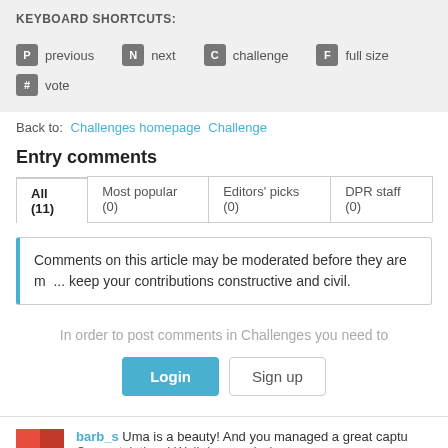KEYBOARD SHORTCUTS:
P previous   N next   C challenge   F full size
# vote
Back to:  Challenges homepage  Challenge
Entry comments
All (11)   Most popular (0)   Editors' picks (0)   DPR staff (0)
Comments on this article may be moderated before they are made public. Please keep your contributions constructive and civil.
In order to post comments in Challenges you need to
Login   Sign up
barb_s  Uma is a beauty! And you managed a great captu... Congratulations! Well deserved win.